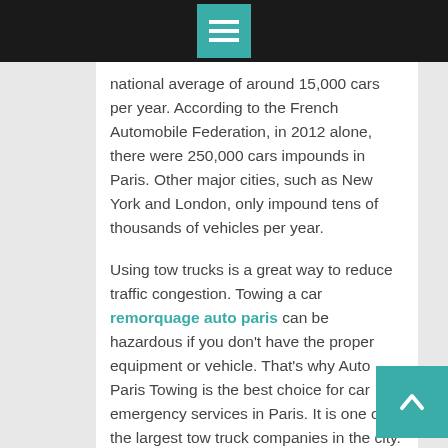[Menu icon / navigation bar]
national average of around 15,000 cars per year. According to the French Automobile Federation, in 2012 alone, there were 250,000 cars impounds in Paris. Other major cities, such as New York and London, only impound tens of thousands of vehicles per year.
Using tow trucks is a great way to reduce traffic congestion. Towing a car remorquage auto paris can be hazardous if you don't have the proper equipment or vehicle. That's why Auto Paris Towing is the best choice for car emergency services in Paris. It is one of the largest tow truck companies in the city. Its drivers are trained and experienced to safely and quickly retrieve a car from any location. It's also possible to hire a driver with specialized training in car towing.
Towing a car is dangerous and difficult unless you have the proper equipment or vehicle. It's best to